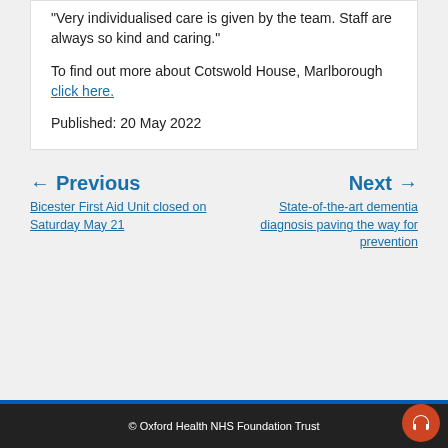"Very individualised care is given by the team. Staff are always so kind and caring."
To find out more about Cotswold House, Marlborough click here.
Published: 20 May 2022
← Previous
Bicester First Aid Unit closed on Saturday May 21
Next →
State-of-the-art dementia diagnosis paving the way for prevention
© Oxford Health NHS Foundation Trust